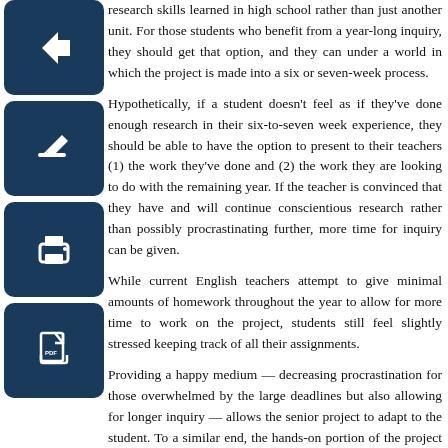research skills learned in high school rather than just another unit. For those students who benefit from a year-long inquiry, they should get that option, and they can under a world in which the project is made into a six or seven-week process.
Hypothetically, if a student doesn't feel as if they've done enough research in their six-to-seven week experience, they should be able to have the option to present to their teachers (1) the work they've done and (2) the work they are looking to do with the remaining year. If the teacher is convinced that they have and will continue conscientious research rather than possibly procrastinating further, more time for inquiry can be given.
While current English teachers attempt to give minimal amounts of homework throughout the year to allow for more time to work on the project, students still feel slightly stressed keeping track of all their assignments.
Providing a happy medium — decreasing procrastination for those overwhelmed by the large deadlines but also allowing for longer inquiry — allows the senior project to adapt to the student. To a similar end, the hands-on portion of the project should also depend on the project. The student should be able to choose whether to engage in the hands-on portion, depending on whether they believe it will truly supplement their research.